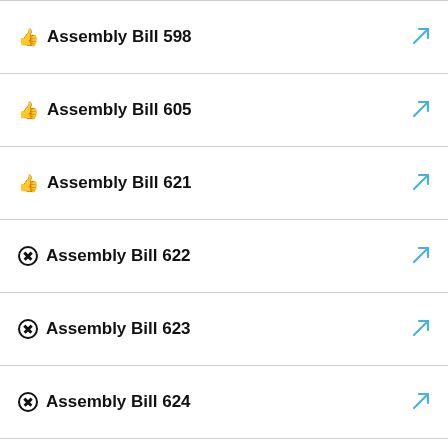Assembly Bill 598
Assembly Bill 605
Assembly Bill 621
Assembly Bill 622
Assembly Bill 623
Assembly Bill 624
Assembly Bill 625
Assembly Bill 632